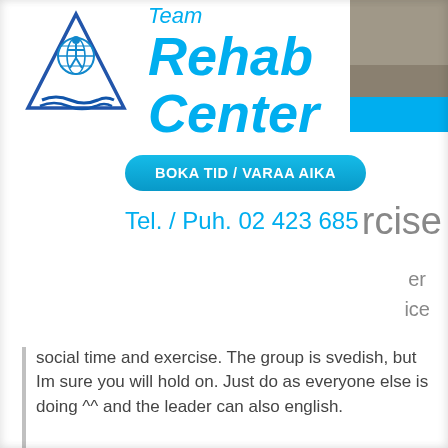[Figure (logo): Team Rehab Center logo: blue triangle outline with a figure and globe inside, with blue wave at the base]
Team
Rehab
Center
[Figure (photo): Partial photo of a person, with a cyan/blue horizontal bar at the bottom]
BOKA TID / VARAA AIKA
Tel. / Puh. 02 423 685
rcise
er
ice
social time and exercise. The group is svedish, but Im sure you will hold on. Just do as everyone else is doing ^^ and the leader can also english.
We strart with warm up and strechning. When body is warm and a waken we go to the HUR- machines. we spend 3 minutes in every machine. when 30 minutes have gone we have middle time brake. time to drink water have a chat